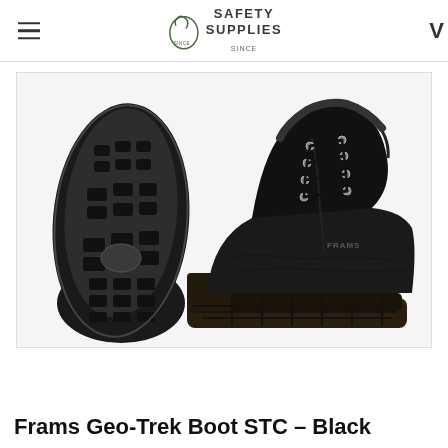Safety Supplies
[Figure (photo): Product photo showing two views of a black Frams Geo-Trek safety boot: the sole/bottom view on the left showing chunky tread pattern, and a side/angle view of the full boot on the right showing laced upper with metal eyelets and thick rubber sole.]
Frams Geo-Trek Boot STC - Black